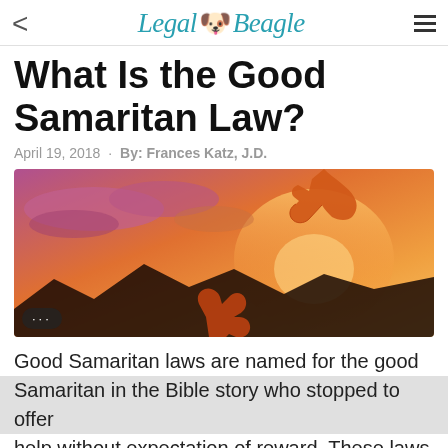< Legal Beagle =
What Is the Good Samaritan Law?
April 19, 2018 · By: Frances Katz, J.D.
[Figure (photo): Two silhouetted hands reaching toward each other against a warm sunset sky with orange and purple clouds and mountain silhouettes in the background.]
Good Samaritan laws are named for the good Samaritan in the Bible story who stopped to offer help without expectation of reward. These laws vary